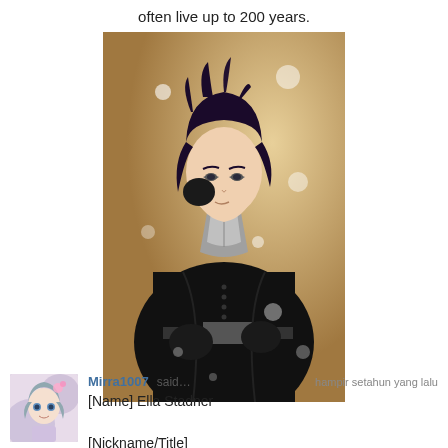often live up to 200 years.
[Figure (illustration): Anime-style illustration of a dark-haired male character in a black coat with a grey scarf/cravat, posing against a warm golden background with white light bokeh effects.]
Mirra1007 said… hampir setahun yang lalu
[Name] Ella Stadner

[Nickname/Title]